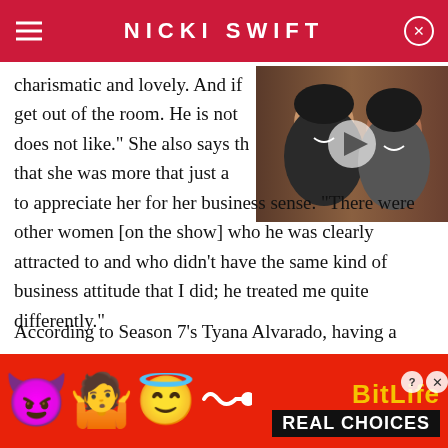NICKI SWIFT
charismatic and lovely. And if get out of the room. He is not does not like." She also says th that she was more that just a to appreciate her for her business sense. "There were other women [on the show] who he was clearly attracted to and who didn't have the same kind of business attitude that I did; he treated me quite differently."
[Figure (photo): Photo of a man and woman smiling together, with a video play button overlay]
According to Season 7's Tyana Alvarado, having a
[Figure (infographic): BitLife advertisement banner with emojis (devil, person shrugging, angel) and text REAL CHOICES on red background]